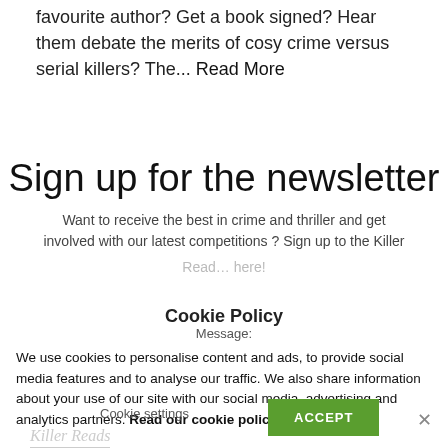favourite author? Get a book signed? Hear them debate the merits of cosy crime versus serial killers? The... Read More
Sign up for the newsletter
Want to receive the best in crime and thriller and get involved with our latest competitions ? Sign up to the Killer
Read ... here!
Cookie Policy
Message:
We use cookies to personalise content and ads, to provide social media features and to analyse our traffic. We also share information about your use of our site with our social media, advertising and analytics partners. Read our cookie policy
Cookie settings
ACCEPT
Killer Reads